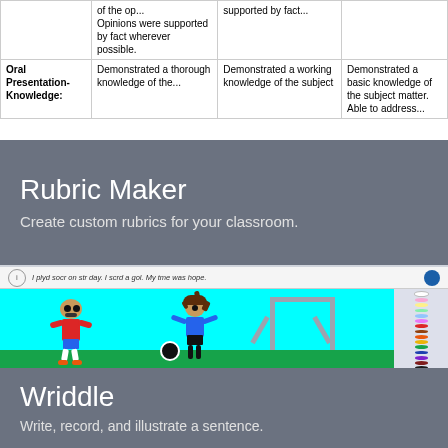|  | 4 | 3 | 2 |
| --- | --- | --- | --- |
|  | Opinions were supported by fact wherever possible. | supported by fact... |  |
| Oral Presentation-Knowledge: | Demonstrated a thorough knowledge of the... | Demonstrated a working knowledge of the subject... | Demonstrated a basic knowledge of the subject matter. Able to address... |
Rubric Maker
Create custom rubrics for your classroom.
[Figure (screenshot): Wriddle app screenshot showing a drawing interface with two cartoon figures playing soccer, a ball, and a goal. Text at top reads: I plyd socr on str day. I scrd a gol. My tme was hope.]
Wriddle
Write, record, and illustrate a sentence.